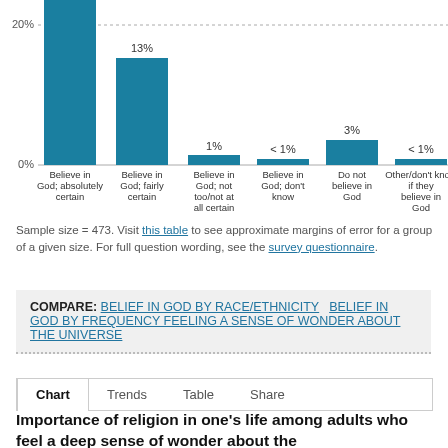[Figure (bar-chart): Belief in God (partial chart top)]
Sample size = 473. Visit this table to see approximate margins of error for a group of a given size. For full question wording, see the survey questionnaire.
COMPARE: BELIEF IN GOD BY RACE/ETHNICITY   BELIEF IN GOD BY FREQUENCY FEELING A SENSE OF WONDER ABOUT THE UNIVERSE
Chart   Trends   Table   Share
Importance of religion in one's life among adults who feel a deep sense of wonder about the